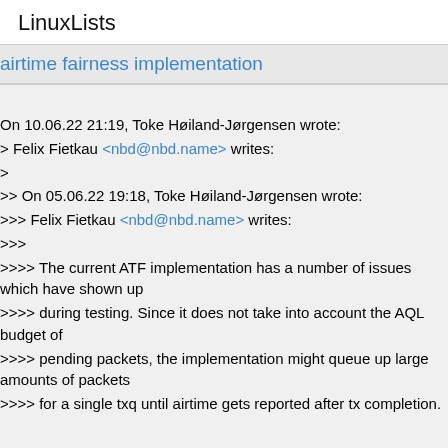LinuxLists
airtime fairness implementation
On 10.06.22 21:19, Toke Høiland-Jørgensen wrote:
> Felix Fietkau <nbd@nbd.name> writes:
>
>> On 05.06.22 19:18, Toke Høiland-Jørgensen wrote:
>>> Felix Fietkau <nbd@nbd.name> writes:
>>>
>>>> The current ATF implementation has a number of issues which have shown up
>>>> during testing. Since it does not take into account the AQL budget of
>>>> pending packets, the implementation might queue up large amounts of packets
>>>> for a single txq until airtime gets reported after tx completion.